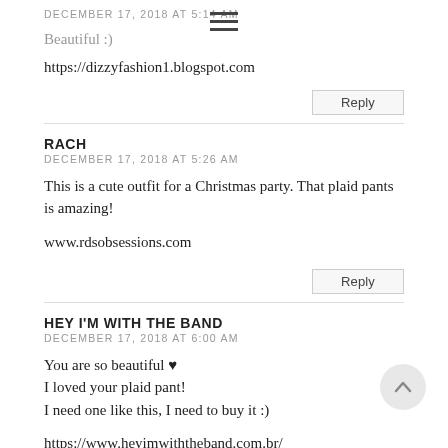DECEMBER 17, 2018 AT 5:14 AM
Beautiful :)
https://dizzyfashion1.blogspot.com
Reply
RACH
DECEMBER 17, 2018 AT 5:26 AM
This is a cute outfit for a Christmas party. That plaid pants is amazing!
www.rdsobsessions.com
Reply
HEY I'M WITH THE BAND
DECEMBER 17, 2018 AT 6:00 AM
You are so beautiful ♥
I loved your plaid pant!
I need one like this, I need to buy it :)
https://www.heyimwiththeband.com.br/